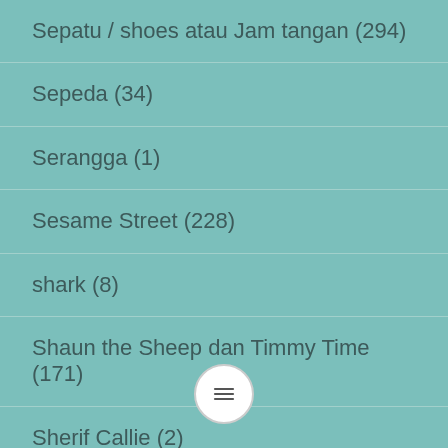Sepatu / shoes atau Jam tangan (294)
Sepeda (34)
Serangga (1)
Sesame Street (228)
shark (8)
Shaun the Sheep dan Timmy Time (171)
Sherif Callie (2)
shimmeer & shine